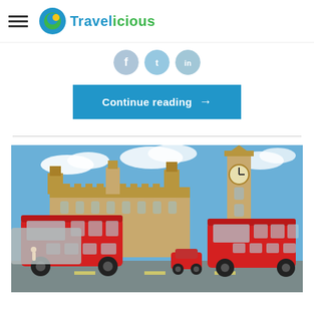Travelicious
[Figure (illustration): Three social media icons (Facebook, Twitter, LinkedIn) displayed as circular icons]
Continue reading →
[Figure (photo): Two red double-decker London buses in front of the Houses of Parliament and Big Ben clock tower under a blue sky]